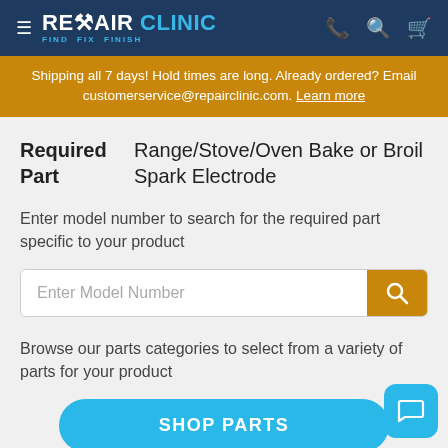REPAIR CLINIC — FIND. FIX. FINISH.
Shipping all 7 days! Hold times are long. Already ordered? Email customerservice@repairclinic.com. Learn more
Required Part   Range/Stove/Oven Bake or Broil Spark Electrode
Enter model number to search for the required part specific to your product
Enter Model Number
Browse our parts categories to select from a variety of parts for your product
SHOP PARTS